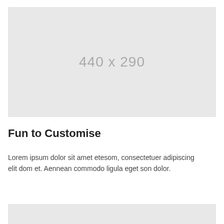[Figure (other): Gray placeholder image box with dimensions text '440 x 290']
Fun to Customise
Lorem ipsum dolor sit amet etesom, consectetuer adipiscing elit dom et. Aennean commodo ligula eget son dolor.
[Figure (other): Gray placeholder image box, partially visible at bottom of page]